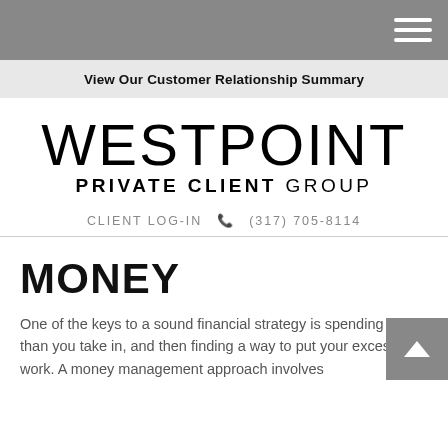Navigation bar with hamburger menu
View Our Customer Relationship Summary
[Figure (logo): Westpoint Private Client Group logo — WESTPOINT in large thin letters above PRIVATE CLIENT GROUP in bold/regular spaced capitals]
CLIENT LOG-IN  (317) 705-8114
MONEY
One of the keys to a sound financial strategy is spending less than you take in, and then finding a way to put your excess to work. A money management approach involves